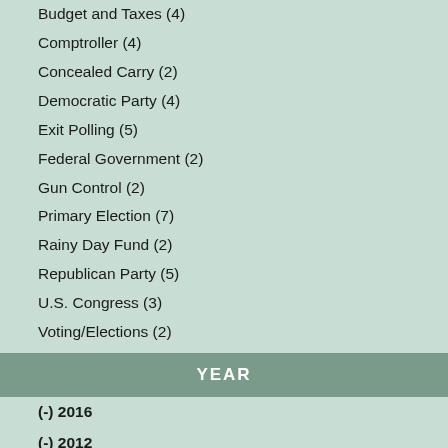Budget and Taxes (4)
Comptroller (4)
Concealed Carry (2)
Democratic Party (4)
Exit Polling (5)
Federal Government (2)
Gun Control (2)
Primary Election (7)
Rainy Day Fund (2)
Republican Party (5)
U.S. Congress (3)
Voting/Elections (2)
YEAR
(-) 2016
(-) 2012
(-) 1989
(-) 1973
2018 (2)